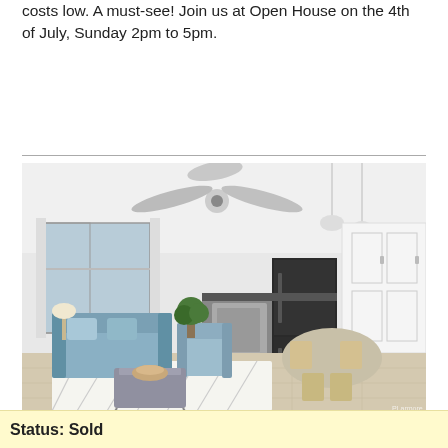costs low. A must-see! Join us at Open House on the 4th of July, Sunday 2pm to 5pm.
Top of Page
[Figure (photo): Interior photo of an open-plan living room and kitchen with light wood floors, white cabinets, blue sofa, ceiling fan, and black refrigerator. Dining table with chairs visible in background.]
Status: Sold